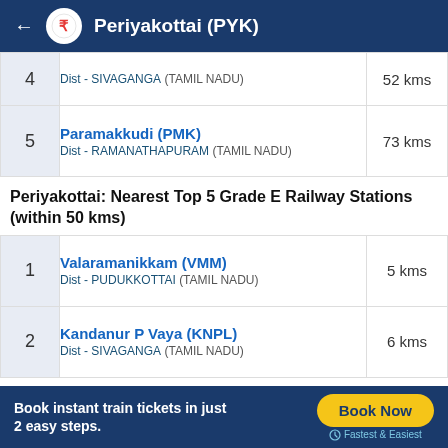Periyakottai (PYK)
| # | Station | Distance |
| --- | --- | --- |
| 4 | Dist - SIVAGANGA (TAMIL NADU) | 52 kms |
| 5 | Paramakkudi (PMK)
Dist - RAMANATHAPURAM (TAMIL NADU) | 73 kms |
Periyakottai: Nearest Top 5 Grade E Railway Stations (within 50 kms)
| # | Station | Distance |
| --- | --- | --- |
| 1 | Valaramanikkam (VMM)
Dist - PUDUKKOTTAI (TAMIL NADU) | 5 kms |
| 2 | Kandanur P Vaya (KNPL)
Dist - SIVAGANGA (TAMIL NADU) | 6 kms |
Book instant train tickets in just 2 easy steps. Book Now Fastest & Easiest